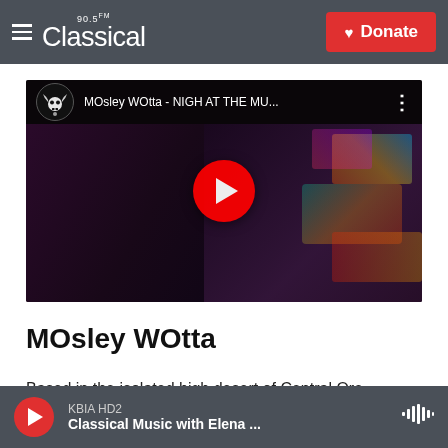90.5 FM Classical — Donate
[Figure (screenshot): YouTube video thumbnail showing two people in front of colorful graffiti wall, with video title 'MOsley WOtta - NIGH AT THE MU...' and a red YouTube play button overlay]
MOsley WOtta
Based in the isolated high desert of Central Ore
KBIA HD2 — Classical Music with Elena ...